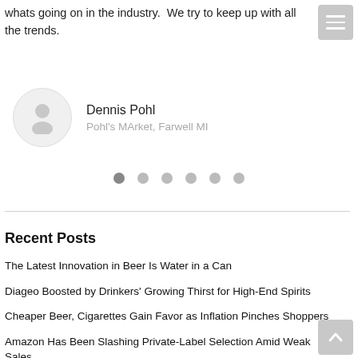whats going on in the industry.  We try to keep up with all the trends.
Dennis Pohl
Pohl's MArket, Farwell MI
Recent Posts
The Latest Innovation in Beer Is Water in a Can
Diageo Boosted by Drinkers' Growing Thirst for High-End Spirits
Cheaper Beer, Cigarettes Gain Favor as Inflation Pinches Shoppers
Amazon Has Been Slashing Private-Label Selection Amid Weak Sales